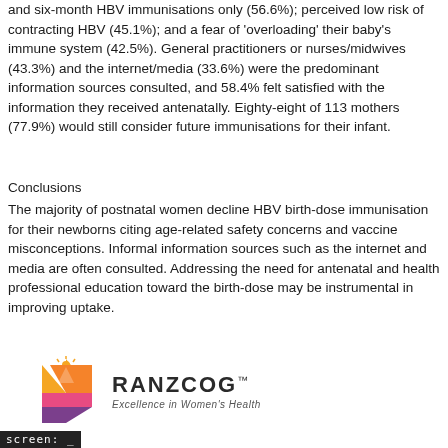were: baby too young (60.6%); preference for two, four and six-month HBV immunisations only (56.6%); perceived low risk of contracting HBV (45.1%); and a fear of 'overloading' their baby's immune system (42.5%). General practitioners or nurses/midwives (43.3%) and the internet/media (33.6%) were the predominant information sources consulted, and 58.4% felt satisfied with the information they received antenatally. Eighty-eight of 113 mothers (77.9%) would still consider future immunisations for their infant.
Conclusions
The majority of postnatal women decline HBV birth-dose immunisation for their newborns citing age-related safety concerns and vaccine misconceptions. Informal information sources such as the internet and media are often consulted. Addressing the need for antenatal and health professional education toward the birth-dose may be instrumental in improving uptake.
[Figure (logo): RANZCOG logo with geometric coloured shield icon and text 'RANZCOG Excellence in Women's Health']